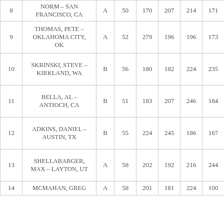| # | Name | Class | Col4 | Col5 | Col6 | Col7 | Col8 |
| --- | --- | --- | --- | --- | --- | --- | --- |
| 8 | NORM – SAN FRANCISCO, CA | A | 50 | 170 | 207 | 214 | 171 |
| 9 | THOMAS, PETE – OKLAHOMA CITY, OK | A | 52 | 279 | 196 | 196 | 173 |
| 10 | SKRINSKI, STEVE – KIRKLAND, WA | B | 56 | 180 | 182 | 224 | 235 |
| 11 | BELLA, AL – ANTIOCH, CA | B | 51 | 183 | 207 | 246 | 184 |
| 12 | ADKINS, DANIEL – AUSTIN, TX | B | 55 | 224 | 245 | 186 | 167 |
| 13 | SHELLABARGER, MAX – LAYTON, UT | A | 58 | 202 | 192 | 216 | 244 |
| 14 | MCMAHAN, GREG – ... | A | 58 | 201 | 181 | 224 | 100 |